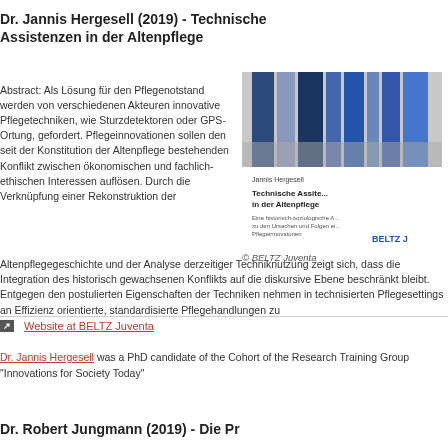Dr. Jannis Hergesell (2019) - Technische Assistenzen in der Altenpflege
Abstract: Als Lösung für den Pflegenotstand werden von verschiedenen Akteuren innovative Pflegetechniken, wie Sturzdetektoren oder GPS-Ortung, gefordert. Pflegeinnovationen sollen den seit der Konstitution der Altenpflege bestehenden Konflikt zwischen ökonomischen und fachlich-ethischen Interessen auflösen. Durch die Verknüpfung einer Rekonstruktion der Altenpflegegeschichte und der Analyse derzeitiger Techniknutzung zeigt sich, dass die Integration des historisch gewachsenen Konflikts auf die diskursive Ebene beschränkt bleibt. Entgegen den postulierten Eigenschaften der Techniken nehmen in technisierten Pflegesettings an Effizienz orientierte, standardisierte Pflegehandlungen zu
[Figure (photo): Book cover of Technische Assistenzen in der Altenpflege by Jannis Hergesell, published by BELTZ Juventa]
© BELTZ Juventa
Website at BELTZ Juventa
Dr. Jannis Hergesell was a PhD candidate of the Cohort of the Research Training Group "Innovations for Society Today"
Dr. Robert Jungmann (2019) - Die Pr...